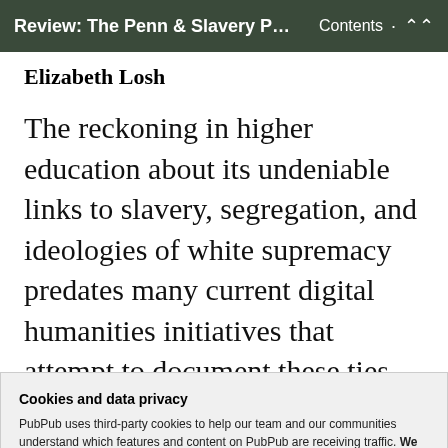Review: The Penn & Slavery Proje... Contents
Elizabeth Losh
The reckoning in higher education about its undeniable links to slavery, segregation, and ideologies of white supremacy predates many current digital humanities initiatives that attempt to document these ties. For example,
Cookies and data privacy
PubPub uses third-party cookies to help our team and our communities understand which features and content on PubPub are receiving traffic. We don't sell this data or share it with anyone else, and we don't use third-party processors who aggregate and sell data. Visit your privacy settings to learn more.
have developed robust digital humanities